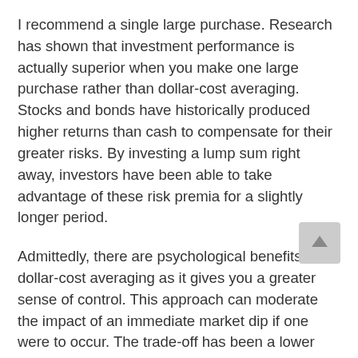I recommend a single large purchase. Research has shown that investment performance is actually superior when you make one large purchase rather than dollar-cost averaging. Stocks and bonds have historically produced higher returns than cash to compensate for their greater risks. By investing a lump sum right away, investors have been able to take advantage of these risk premia for a slightly longer period.
Admittedly, there are psychological benefits to dollar-cost averaging as it gives you a greater sense of control. This approach can moderate the impact of an immediate market dip if one were to occur. The trade-off has been a lower return in the majority of market scenarios.
If it helps you to sleep better at night, then go ahead